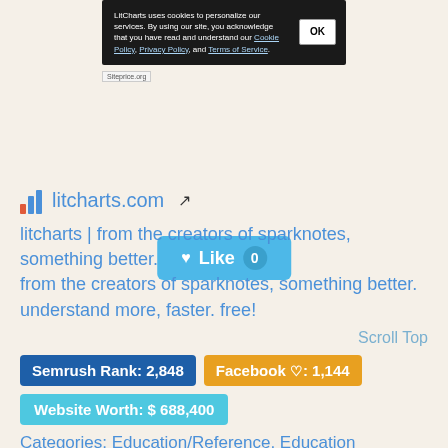[Figure (screenshot): Screenshot of LitCharts cookie consent banner with dark background, OK button, and siteprice.org watermark]
[Figure (screenshot): Like button in blue/teal color showing heart icon, 'Like' text, and count badge showing 0]
litcharts.com [external link icon]
litcharts | from the creators of sparknotes, something better.
from the creators of sparknotes, something better. understand more, faster. free!
Scroll Top
Semrush Rank: 2,848
Facebook ♡: 1,144
Website Worth: $ 688,400
Categories: Education/Reference, Education
Is it similar?
Yes 0
No 0